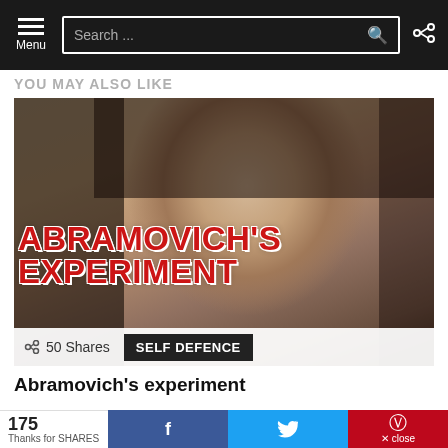Menu | Search... | (share icon)
YOU MAY ALSO LIKE
[Figure (photo): Photo of a woman (Marina Abramovic) with bold red text overlay reading ABRAMOVIC'S EXPERIMENT, with 50 Shares and SELF DEFENCE tag at the bottom]
Abramovich's experiment
[Figure (photo): Partial second article image showing bold red text partially visible: DARED]
175 Thanks for SHARES | f (Facebook) | (Twitter bird) | (Pinterest) | x close